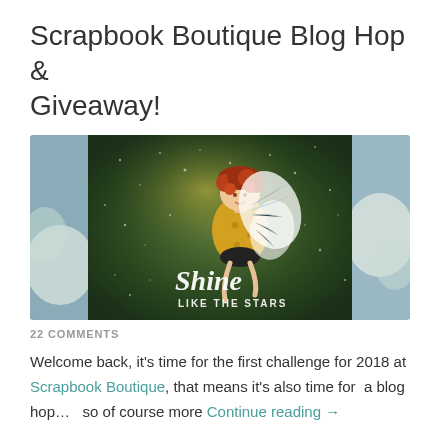Scrapbook Boutique Blog Hop & Giveaway!
[Figure (photo): A fairy card craft with a chubby fairy wearing a yellow polka-dot dress and white wings, flying against a dark green starry background with white text reading 'Shine LIKE THE STARS'. White flowers are visible on the left and right edges.]
22 COMMENTS
Welcome back, it's time for the first challenge for 2018 at Scrapbook Boutique, that means it's also time for  a blog hop…   so of course more Continue reading →